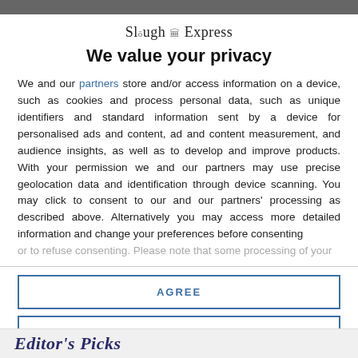[Figure (logo): Slough Express newspaper logo with small crest icon]
We value your privacy
We and our partners store and/or access information on a device, such as cookies and process personal data, such as unique identifiers and standard information sent by a device for personalised ads and content, ad and content measurement, and audience insights, as well as to develop and improve products. With your permission we and our partners may use precise geolocation data and identification through device scanning. You may click to consent to our and our partners' processing as described above. Alternatively you may access more detailed information and change your preferences before consenting or to refuse consenting. Please note that some processing of your
AGREE
MORE OPTIONS
Editor's Picks